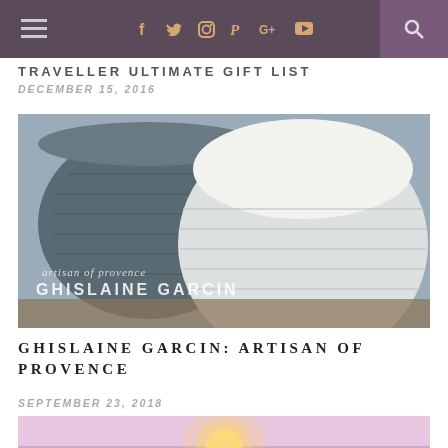Navigation bar with hamburger menu, social icons (Facebook, Twitter, Instagram, Pinterest, Google+, YouTube), and search
TRAVELLER ULTIMATE GIFT LIST
DECEMBER 15, 2016
[Figure (photo): Two knitted wool baskets/bowls, one dark grey and one light grey/white, with text overlay reading 'artisan of provence GHISLAINE GARCIN']
GHISLAINE GARCIN: ARTISAN OF PROVENCE
SEPTEMBER 23, 2018
[Figure (photo): Lavender field at sunset with bright sunburst through purple flowers]